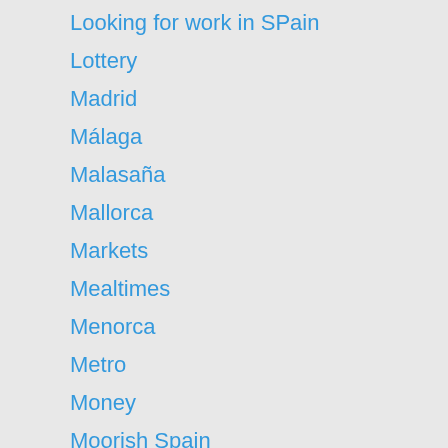Looking for work in SPain
Lottery
Madrid
Málaga
Malasaña
Mallorca
Markets
Mealtimes
Menorca
Metro
Money
Moorish Spain
Moving to Spain